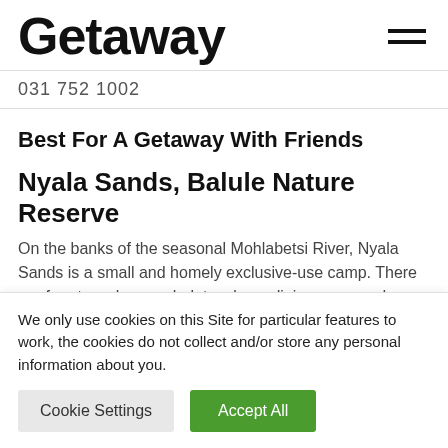Getaway
031 752 1002
Best For A Getaway With Friends
Nyala Sands, Balule Nature Reserve
On the banks of the seasonal Mohlabetsi River, Nyala Sands is a small and homely exclusive-use camp. There are four two-sleeper chalets, plus a dining room and
We only use cookies on this Site for particular features to work, the cookies do not collect and/or store any personal information about you.